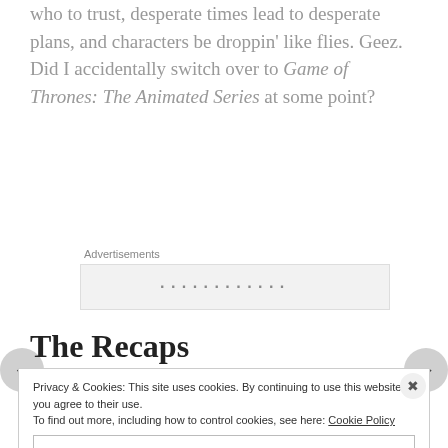who to trust, desperate times lead to desperate plans, and characters be droppin' like flies. Geez. Did I accidentally switch over to Game of Thrones: The Animated Series at some point?
Advertisements
The Recaps
Episode 196 – Number the Sailor Stars
Privacy & Cookies: This site uses cookies. By continuing to use this website, you agree to their use. To find out more, including how to control cookies, see here: Cookie Policy
Close and accept